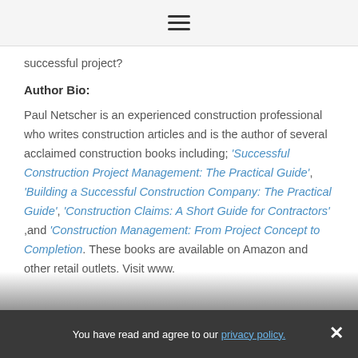≡
successful project?
Author Bio:
Paul Netscher is an experienced construction professional who writes construction articles and is the author of several acclaimed construction books including; 'Successful Construction Project Management: The Practical Guide', 'Building a Successful Construction Company: The Practical Guide', 'Construction Claims: A Short Guide for Contractors' ,and 'Construction Management: From Project Concept to Completion. These books are available on Amazon and other retail outlets. Visit www.
You have read and agree to our privacy policy.